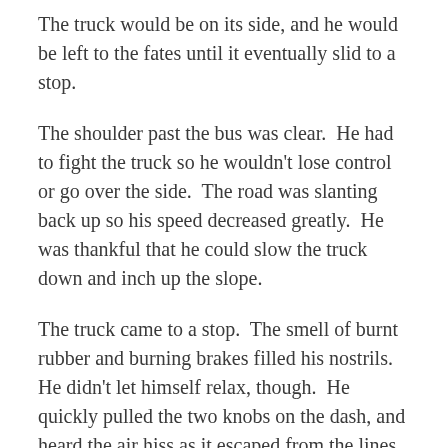The truck would be on its side, and he would be left to the fates until it eventually slid to a stop.
The shoulder past the bus was clear.  He had to fight the truck so he wouldn't lose control or go over the side.  The road was slanting back up so his speed decreased greatly.  He was thankful that he could slow the truck down and inch up the slope.
The truck came to a stop.  The smell of burnt rubber and burning brakes filled his nostrils.  He didn't let himself relax, though.  He quickly pulled the two knobs on the dash, and heard the air hiss as it escaped from the lines.  This allowed the parking brake to grab the rig and keep it from going back down the hill.
The...